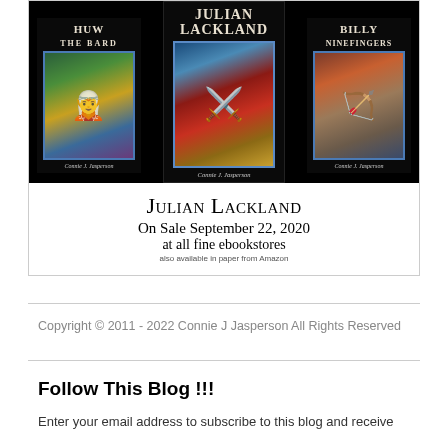[Figure (illustration): Book advertisement showing three book covers on black background: 'Huw the Bard', 'Julian Lackland', and 'Billy Ninefingers', all by Connie J. Jasperson, with stained glass style artwork. Below the covers text reads: JULIAN LACKLAND, On Sale September 22, 2020, at all fine ebookstores, also available in paper from Amazon.]
Copyright © 2011 - 2022 Connie J Jasperson All Rights Reserved
Follow This Blog !!!
Enter your email address to subscribe to this blog and receive